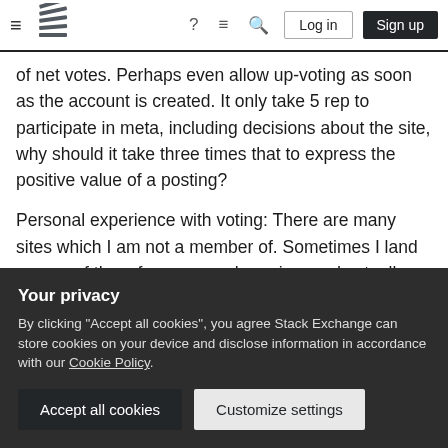Stack Exchange navigation bar with hamburger menu, logo, help icon, chat icon, search icon, Log in button, Sign up button
of net votes. Perhaps even allow up-voting as soon as the account is created. It only take 5 rep to participate in meta, including decisions about the site, why should it take three times that to express the positive value of a posting?
Personal experience with voting: There are many sites which I am not a member of. Sometimes I land on one of them from a search engine, and actually find my answer. Out of habit I up-vote the answer only to be reminded that I'm not logged in. In my case, with rep from other sites I'd have the
Your privacy
By clicking "Accept all cookies", you agree Stack Exchange can store cookies on your device and disclose information in accordance with our Cookie Policy.
Accept all cookies    Customize settings
get the prompt, join the site and cast their vote, they